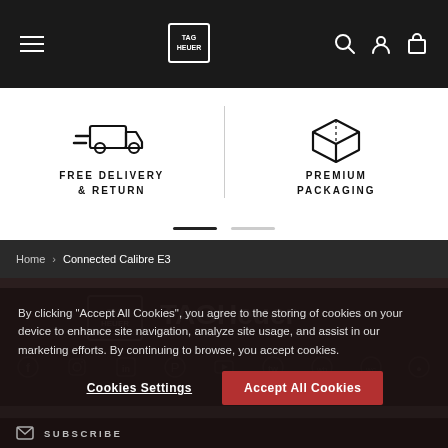TAG Heuer navigation bar with hamburger menu, logo, search, account, cart icons
[Figure (infographic): Free delivery & return icon with a delivery truck graphic]
FREE DELIVERY & RETURN
[Figure (infographic): Premium packaging icon with a box graphic]
PREMIUM PACKAGING
Home > Connected Calibre E3
[Figure (logo): TAG Heuer logo with shield emblem and text TAGHeuer SWISS AVANT-GARDE SINCE 1860]
[Figure (infographic): Social media icons: Facebook, Instagram, LinkedIn, Pinterest, YouTube, Twitter, Weibo, WeChat, other]
By clicking "Accept All Cookies", you agree to the storing of cookies on your device to enhance site navigation, analyze site usage, and assist in our marketing efforts. By continuing to browse, you accept cookies.
Cookies Settings
Accept All Cookies
SUBSCRIBE